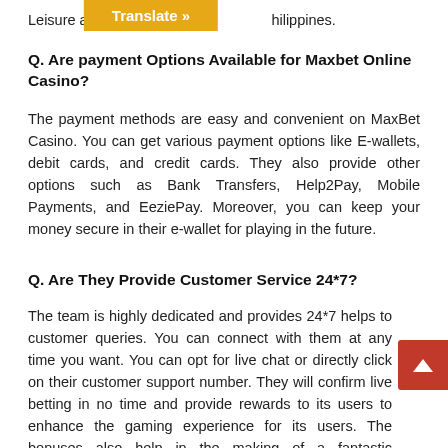Leisure and Resort ... Philippines.
Q. Are payment Options Available for Maxbet Online Casino?
The payment methods are easy and convenient on MaxBet Casino. You can get various payment options like E-wallets, debit cards, and credit cards. They also provide other options such as Bank Transfers, Help2Pay, Mobile Payments, and EeziePay. Moreover, you can keep your money secure in their e-wallet for playing in the future.
Q. Are They Provide Customer Service 24*7?
The team is highly dedicated and provides 24*7 helps to customer queries. You can connect with them at any time you want. You can opt for live chat or directly click on their customer support number. They will confirm live betting in no time and provide rewards to its users to enhance the gaming experience for its users. The bonuses also help in the making of a fantastic sportsbook betting community.